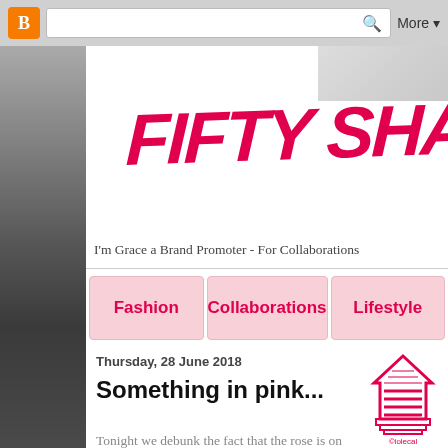[Figure (screenshot): Browser toolbar with Blogger orange icon, search bar with magnifying glass, and 'More' dropdown button on grey background]
FIFTY SHA
I'm Grace a Brand Promoter - For Collaborations
Fashion
Collaborations
Lifestyle
Thursday, 28 June 2018
Something in pink...
Tonight we debunk the fact that the rose is on
[Figure (illustration): Pink iolecal watermark logo showing a house/arrow shape with stacked lines, with copyright text '@iolecal']